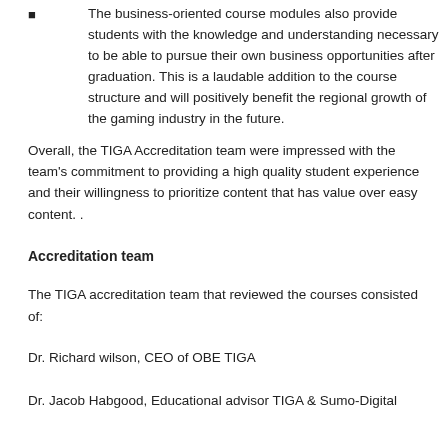The business-oriented course modules also provide students with the knowledge and understanding necessary to be able to pursue their own business opportunities after graduation. This is a laudable addition to the course structure and will positively benefit the regional growth of the gaming industry in the future.
Overall, the TIGA Accreditation team were impressed with the team's commitment to providing a high quality student experience and their willingness to prioritize content that has value over easy content. .
Accreditation team
The TIGA accreditation team that reviewed the courses consisted of:
Dr. Richard wilson, CEO of OBE TIGA
Dr. Jacob Habgood, Educational advisor TIGA & Sumo-Digital